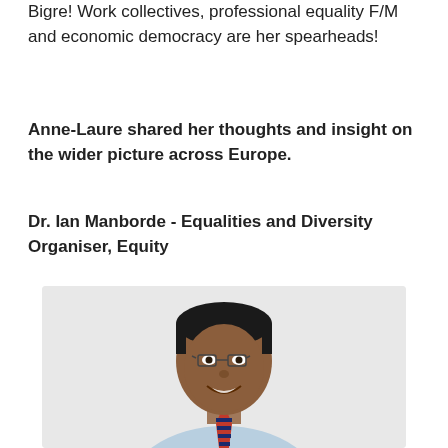Bigre! Work collectives, professional equality F/M and economic democracy are her spearheads!
Anne-Laure shared her thoughts and insight on the wider picture across Europe.
Dr. Ian Manborde - Equalities and Diversity Organiser, Equity
[Figure (photo): Portrait photo of Dr. Ian Manborde, a man with glasses wearing a light blue shirt and a red and navy striped tie, smiling at the camera against a light background.]